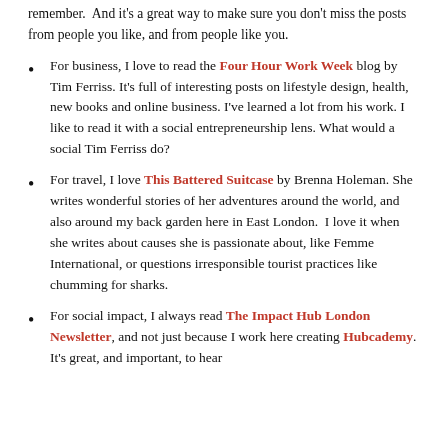interesting people have poked me into action more times than I can remember. And it's a great way to make sure you don't miss the posts from people you like, and from people like you.
For business, I love to read the Four Hour Work Week blog by Tim Ferriss. It's full of interesting posts on lifestyle design, health, new books and online business. I've learned a lot from his work. I like to read it with a social entrepreneurship lens. What would a social Tim Ferriss do?
For travel, I love This Battered Suitcase by Brenna Holeman. She writes wonderful stories of her adventures around the world, and also around my back garden here in East London. I love it when she writes about causes she is passionate about, like Femme International, or questions irresponsible tourist practices like chumming for sharks.
For social impact, I always read The Impact Hub London Newsletter, and not just because I work here creating Hubcademy. It's great, and important, to hear